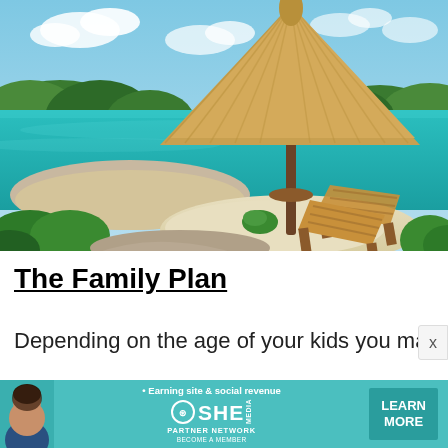[Figure (photo): Tropical beach scene with a palapa (thatched roof umbrella) over a sandy area beside turquoise water, with two wooden lounge chairs, lush green vegetation and a cloudy blue sky in the background.]
The Family Plan
Depending on the age of your kids you may
[Figure (infographic): SHE Media Partner Network advertisement banner with a woman photo, bullet point 'Earning site & social revenue', SHE logo, and a 'LEARN MORE' button with 'BECOME A MEMBER' text.]